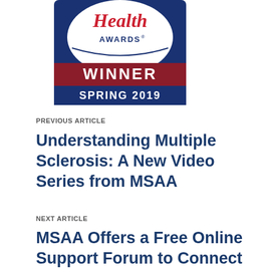[Figure (logo): Health Awards Winner Spring 2019 badge/logo with circular top section and rectangular bottom sections in navy and red/maroon colors]
PREVIOUS ARTICLE
Understanding Multiple Sclerosis: A New Video Series from MSAA
NEXT ARTICLE
MSAA Offers a Free Online Support Forum to Connect Members of the MS Community